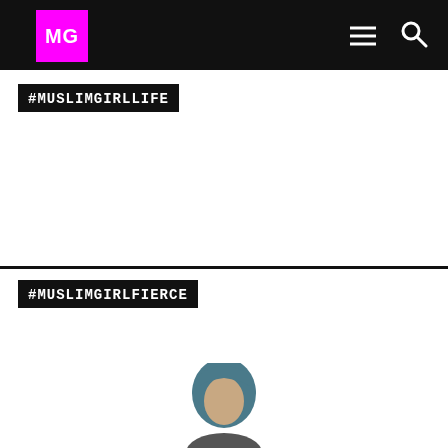MG
#MUSLIMGIRLLIFE
#MUSLIMGIRLFIERCE
[Figure (photo): Partial photo of a person wearing a hijab, visible from the shoulders up, cropped at bottom of page]